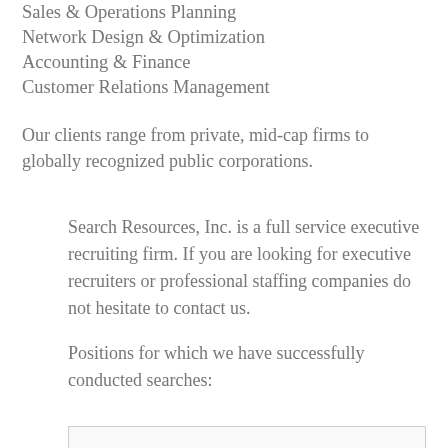Sales & Operations Planning
Network Design & Optimization
Accounting & Finance
Customer Relations Management
Our clients range from private, mid-cap firms to globally recognized public corporations.
Search Resources, Inc. is a full service executive recruiting firm. If you are looking for executive recruiters or professional staffing companies do not hesitate to contact us.
Positions for which we have successfully conducted searches:
Engineering
Senior Management